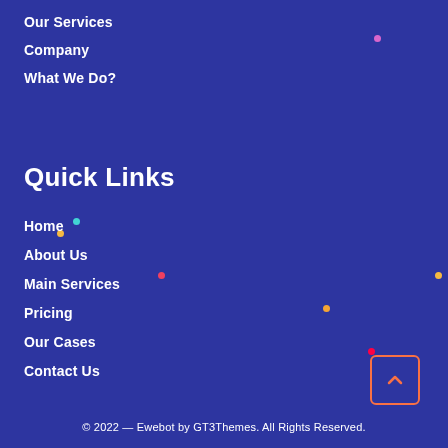Our Services
Company
What We Do?
Quick Links
Home
About Us
Main Services
Pricing
Our Cases
Contact Us
© 2022 — Ewebot by GT3Themes. All Rights Reserved.